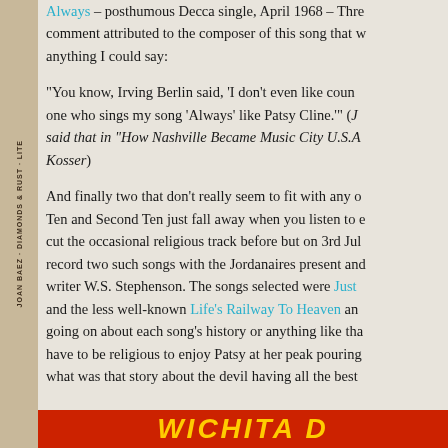Always – posthumous Decca single, April 1968 – There is a comment attributed to the composer of this song that was better than anything I could say:
"You know, Irving Berlin said, 'I don't even like country music, but one who sings my song 'Always' like Patsy Cline.'" (J... said that in "How Nashville Became Music City U.S.A..." by Michael Kosser)
And finally two that don't really seem to fit with any of my Top Ten and Second Ten just fall away when you listen to each. Patsy cut the occasional religious track before but on 3rd Jul... record two such songs with the Jordanaires present and... writer W.S. Stephenson. The songs selected were Just ... and the less well-known Life's Railway To Heaven and... going on about each song's history or anything like tha... have to be religious to enjoy Patsy at her peak pouring... what was that story about the devil having all the best ...
[Figure (other): Bottom banner with stylized text in yellow on red background, partially visible, appearing to be a book or album title]